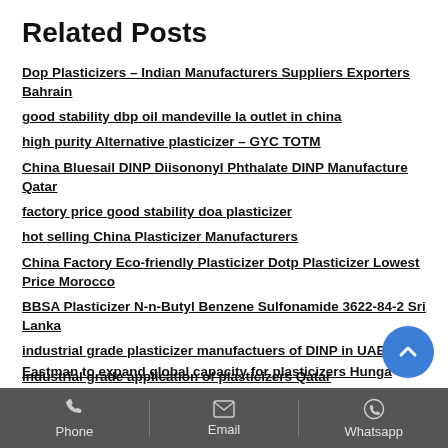Related Posts
Dop Plasticizers – Indian Manufacturers Suppliers Exporters Bahrain
good stability dbp oil mandeville la outlet in china
high purity Alternative plasticizer – GYC TOTM
China Bluesail DINP Diisononyl Phthalate DINP Manufacture Qatar
factory price good stability doa plasticizer
hot selling China Plasticizer Manufacturers
China Factory Eco-friendly Plasticizer Dotp Plasticizer Lowest Price Morocco
BBSA Plasticizer N-n-Butyl Benzene Sulfonamide 3622-84-2 Sri Lanka
industrial grade plasticizer manufactuers of DINP in UAE
industrial grade application of plasticizers Qatar
Eastman to expand global capacity for plasticizers Hunga
Phone   Email   Whatsapp